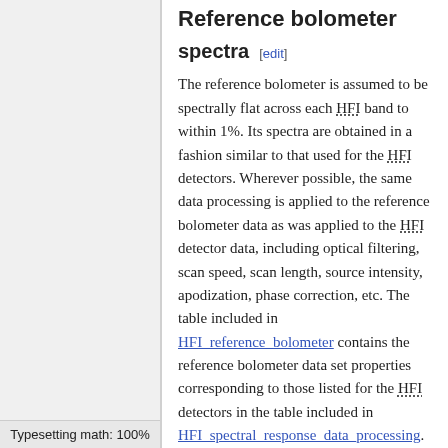Reference bolometer spectra
spectra [edit]
The reference bolometer is assumed to be spectrally flat across each HFI band to within 1%. Its spectra are obtained in a fashion similar to that used for the HFI detectors. Wherever possible, the same data processing is applied to the reference bolometer data as was applied to the HFI detector data, including optical filtering, scan speed, scan length, source intensity, apodization, phase correction, etc. The table included in HFI_reference_bolometer contains the reference bolometer data set properties corresponding to those listed for the HFI detectors in the table included in HFI_spectral_response_data_processing. Figures in HFI_reference_bolometer illustrate the resultant spectra and S/N
Typesetting math: 100%